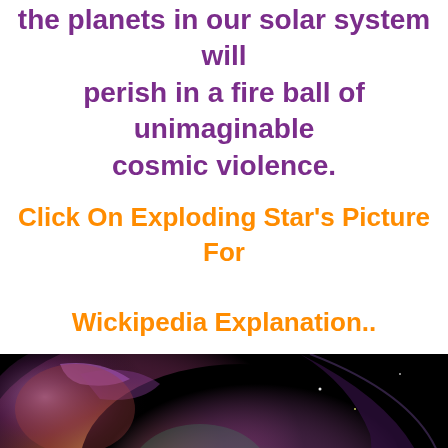the planets in our solar system will perish in a fire ball of unimaginable cosmic violence.
Click On Exploding Star's Picture For Wickipedia Explanation..
[Figure (photo): A dramatic space nebula photograph showing colorful gas clouds in purples, reds, greens and yellows against a dark black background, resembling an exploding star or stellar nursery.]